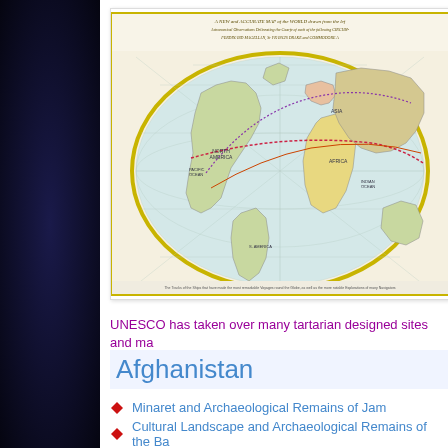[Figure (map): A historical world map titled 'A New and Accurate Map of the World' showing a hemispheric projection with decorative cartographic styling, colored landmasses, and route lines. References to Ferdinand Magellan, Francis Drake, and Commodore appear in the title text.]
UNESCO has taken over many tartarian designed sites and ma...
Afghanistan
Minaret and Archaeological Remains of Jam
Cultural Landscape and Archaeological Remains of the Ba...